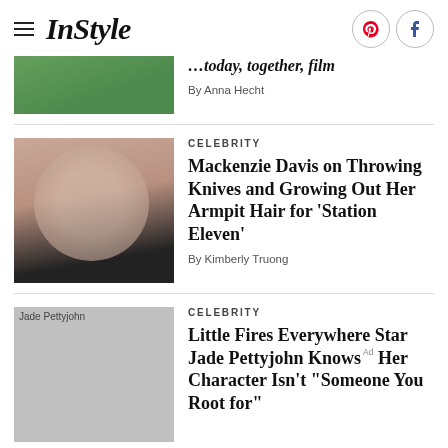InStyle
By Anna Hecht
CELEBRITY
Mackenzie Davis on Throwing Knives and Growing Out Her Armpit Hair for 'Station Eleven'
By Kimberly Truong
CELEBRITY
Little Fires Everywhere Star Jade Pettyjohn Knows Her Character Isn't "Someone You Root for"